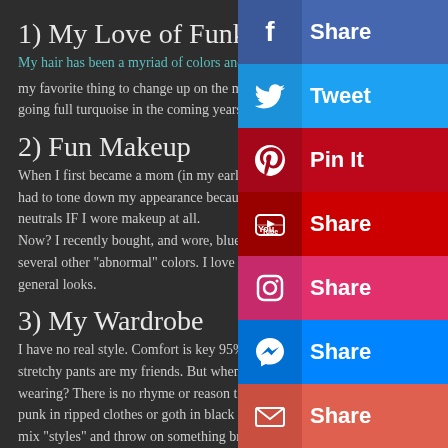1) My Love of Funky Hair
My hair has been a myriad of colors and s… my favorite thing to change up on the m… going full turquoise in the coming years!
2) Fun Makeup
When I first became a mom (in my early 20s) I had to tone down my appearance because "I'm a mom now." I wore neutrals IF I wore makeup at all.
Now? I recently bought, and wore, blue li… several other "abnormal" colors. I love b… general looks.
3) My Wardrobe
I have no real style. Comfort is key 95% of the time. Leggings and stretchy pants are my friends. But when I … wearing? There is no rhyme or reason to i… punk in ripped clothes or goth in black and heavy fabrics. I'll even mix "styles" and throw on something bright and perky with something dark. Whatever makes me feel good that day is what I'll…